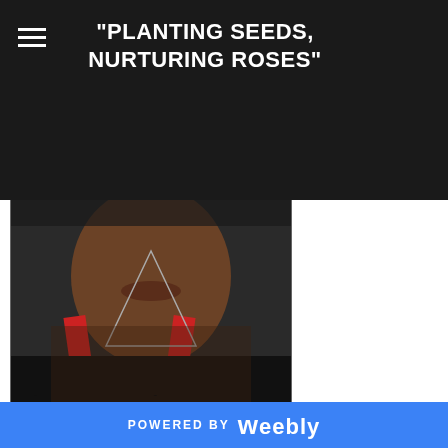"PLANTING SEEDS, NURTURING ROSES"
[Figure (photo): Close-up photo of a person wearing a red sash/ribbon and a geometric diamond/triangle wire accessory around their neck, photographed from the chin down]
Julio Ogbara is an artist, sculptor, and arts administrator. Now residing in St. Louis, Missouri, Ogbara currently works as an artist and Registrar for Craft Alliance Center of Art + Design. In 2013, she received a B.A. in Arts Entertainment & Media Management with a concentration in Visual Arts management from Columbia College Chicago and has had her work covered in publications and platforms such as Huffington Post, Billboard, and Netflix. A few weeks back, we found time to chat with the artist about her craft, Chicago's art scene, and the process behind the book cover and design of Kwabena
POWERED BY weebly